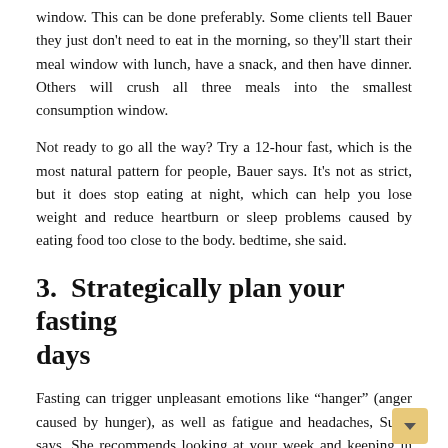window. This can be done preferably. Some clients tell Bauer they just don't need to eat in the morning, so they'll start their meal window with lunch, have a snack, and then have dinner. Others will crush all three meals into the smallest consumption window.
Not ready to go all the way? Try a 12-hour fast, which is the most natural pattern for people, Bauer says. It's not as strict, but it does stop eating at night, which can help you lose weight and reduce heartburn or sleep problems caused by eating food too close to the body. bedtime, she said.
3.  Strategically plan your fasting days
Fasting can trigger unpleasant emotions like “hanger” (anger caused by hunger), as well as fatigue and headaches, Susie says. She recommends looking at your week and keeping in mind the days when you need to perform especially well, such as a day when you have a presentation for work. These are not the days to plan a fast.